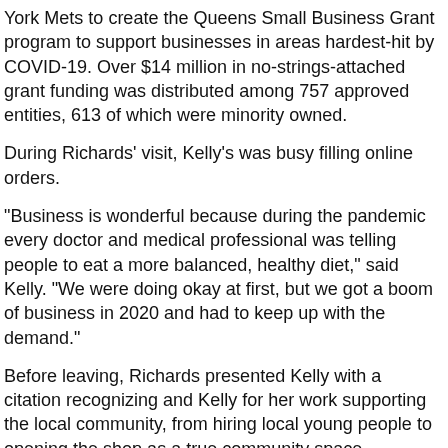York Mets to create the Queens Small Business Grant program to support businesses in areas hardest-hit by COVID-19. Over $14 million in no-strings-attached grant funding was distributed among 757 approved entities, 613 of which were minority owned.
During Richards' visit, Kelly's was busy filling online orders.
“Business is wonderful because during the pandemic every doctor and medical professional was telling people to eat a more balanced, healthy diet,” said Kelly. “We were doing okay at first, but we got a boom of business in 2020 and had to keep up with the demand.”
Before leaving, Richards presented Kelly with a citation recognizing and Kelly for her work supporting the local community, from hiring local young people to opening the shop as a true community space.
“Our small businesses are the livelihood of Queens,” said Richards. “Where can you get a taste of the world besides Queens?”